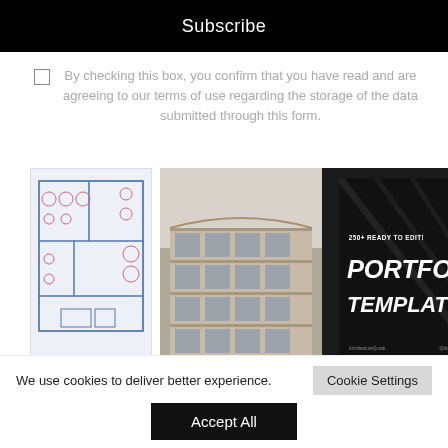Subscribe
By checking this box, you confirm that you have read and are agreeing to our terms of use regarding the storage of the data submitted through this form.
[Figure (schematic): Three images side by side: a floor plan architectural drawing on the left (blueprint style with pink circles and blue lines), a modern glass and wood building facade in the center, and a dark portfolio template advertisement on the right reading '250+ READY TO EDIT! PORTFOLIO TEMPLATES']
We use cookies to deliver better experience.
Cookie Settings
Accept All